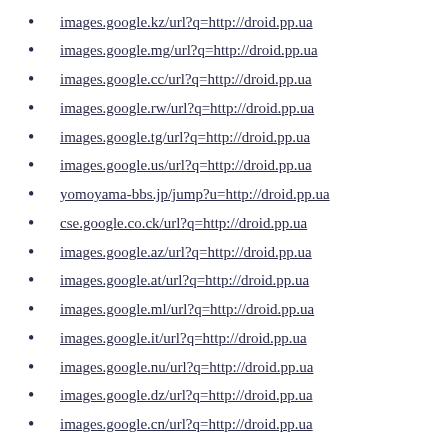images.google.kz/url?q=http://droid.pp.ua
images.google.mg/url?q=http://droid.pp.ua
images.google.cc/url?q=http://droid.pp.ua
images.google.rw/url?q=http://droid.pp.ua
images.google.tg/url?q=http://droid.pp.ua
images.google.us/url?q=http://droid.pp.ua
yomoyama-bbs.jp/jump?u=http://droid.pp.ua
cse.google.co.ck/url?q=http://droid.pp.ua
images.google.az/url?q=http://droid.pp.ua
images.google.at/url?q=http://droid.pp.ua
images.google.ml/url?q=http://droid.pp.ua
images.google.it/url?q=http://droid.pp.ua
images.google.nu/url?q=http://droid.pp.ua
images.google.dz/url?q=http://droid.pp.ua
images.google.cn/url?q=http://droid.pp.ua
images.google.ne/url?q=http://droid.pp.ua
images.google.fr/url?q=http://droid.pp.ua
www.google.co.ma/url?q=http://droid.pp.ua
cse.google.co.ao/url?q=http://droid.pp.ua